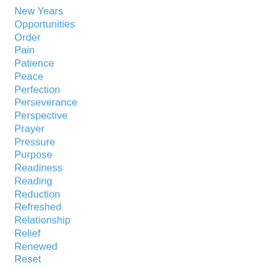New Years
Opportunities
Order
Pain
Patience
Peace
Perfection
Perseverance
Perspective
Prayer
Pressure
Purpose
Readiness
Reading
Reduction
Refreshed
Relationship
Relief
Renewed
Reset